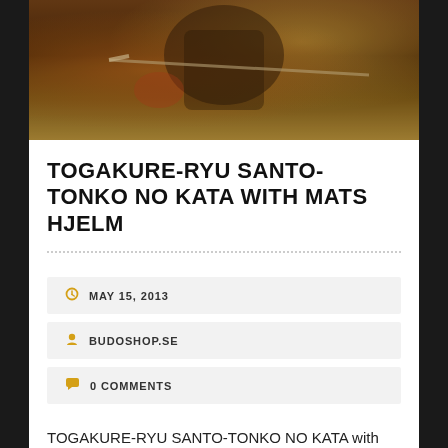[Figure (photo): Japanese samurai artwork / woodblock print style illustration showing a warrior with swords]
TOGAKURE-RYU SANTO-TONKO NO KATA WITH MATS HJELM
MAY 15, 2013
BUDOSHOP.SE
0 COMMENTS
TOGAKURE-RYU SANTO-TONKO NO KATA with MATS HJELM (Shugyou#04) TOGAKURE-RYU SANTO-TONKO NO KATA with MATS HJELM60 minutes, (h.264 M4V/MP4 300p)20p manual, 499 Mb for $19.99 ...